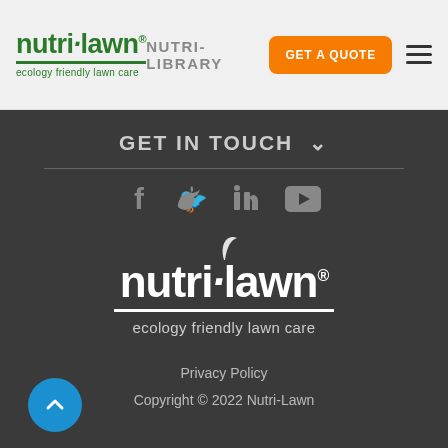[Figure (logo): Nutri-Lawn logo with green text and tagline 'ecology friendly lawn care']
NUTRI-LIBRARY  GET A QUOTE
GET IN TOUCH ▾
[Figure (infographic): Social media icons: Facebook, Twitter, LinkedIn, YouTube]
[Figure (logo): Nutri-Lawn white logo with tagline 'ecology friendly lawn care' on dark background]
Privacy Policy
Copyright © 2022 Nutri-Lawn